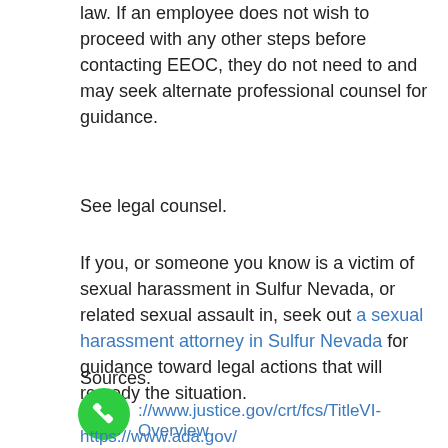law. If an employee does not wish to proceed with any other steps before contacting EEOC, they do not need to and may seek alternate professional counsel for guidance.
See legal counsel.
If you, or someone you know is a victim of sexual harassment in Sulfur Nevada, or related sexual assault in, seek out a sexual harassment attorney in Sulfur Nevada for guidance toward legal actions that will remedy the situation.
Sources.
[Figure (illustration): Green circular phone icon]
http://www.justice.gov/crt/fcs/TitleVI-Overview
https://www.ada.gov/